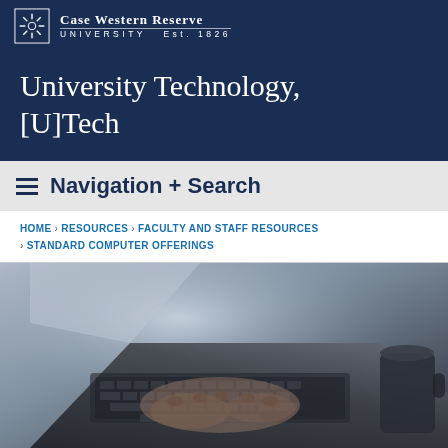Case Western Reserve University Est. 1826
University Technology, [U]Tech
Navigation + Search
HOME › RESOURCES › FACULTY AND STAFF RESOURCES › STANDARD COMPUTER OFFERINGS
[Figure (photo): Close-up photo of hands typing on a laptop keyboard, shallow depth of field, dark tones with light background blur]